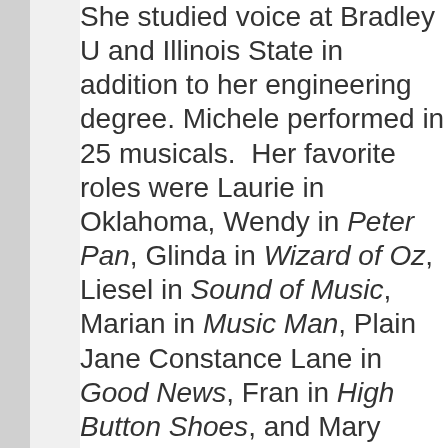She studied voice at Bradley U and Illinois State in addition to her engineering degree. Michele performed in 25 musicals. Her favorite roles were Laurie in Oklahoma, Wendy in Peter Pan, Glinda in Wizard of Oz, Liesel in Sound of Music, Marian in Music Man, Plain Jane Constance Lane in Good News, Fran in High Button Shoes, and Mary Turner in Of the I Sing, plus many others. Her first show in The Villages was in VMT South Pacific in March.